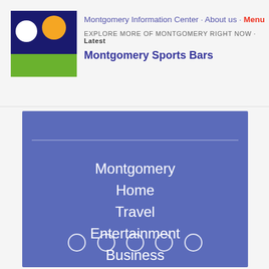Montgomery Information Center · About us · Menu
EXPLORE MORE OF MONTGOMERY RIGHT NOW · Latest
Montgomery Sports Bars
[Figure (infographic): Blue panel with navigation menu items: Montgomery, Home, Travel, Entertainment, Business, and five circular dot indicators at the bottom]